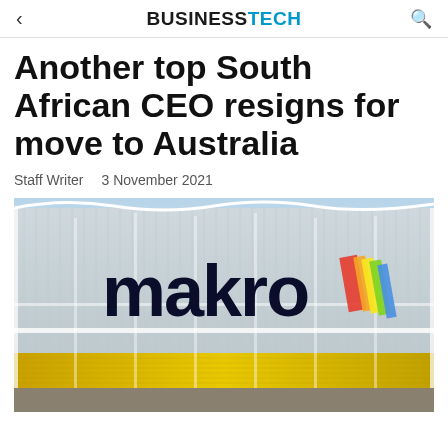BUSINESSTECH
Another top South African CEO resigns for move to Australia
Staff Writer   3 November 2021
[Figure (photo): Exterior photo of a Makro store building with large Makro logo (bubble letters in dark navy) on a white corrugated metal wall, with a rainbow-colored trademark symbol. The roof canopy is bright yellow.]